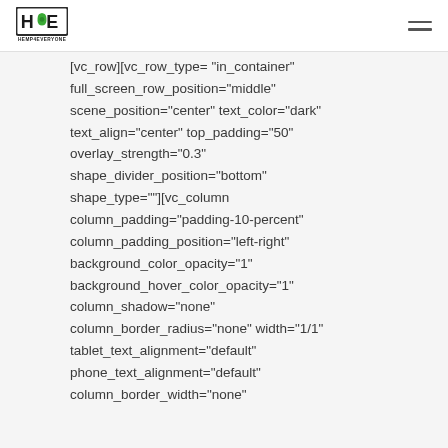Hemp 4 Everyone logo and navigation
[vc_row][vc_row_type="in_container" full_screen_row_position="middle" scene_position="center" text_color="dark" text_align="center" top_padding="50" overlay_strength="0.3" shape_divider_position="bottom" shape_type=""][vc_column column_padding="padding-10-percent" column_padding_position="left-right" background_color_opacity="1" background_hover_color_opacity="1" column_shadow="none" column_border_radius="none" width="1/1" tablet_text_alignment="default" phone_text_alignment="default" column_border_width="none"